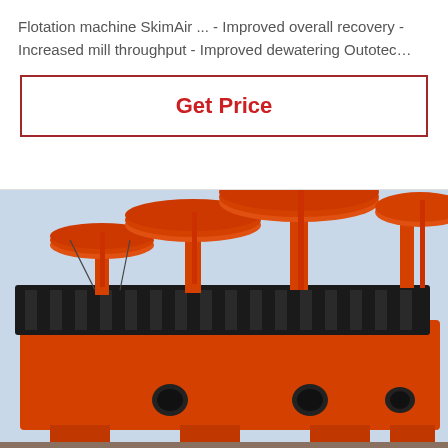Flotation machine SkimAir ... - Improved overall recovery - Increased mill throughput - Improved dewatering Outotec…
Get Price
[Figure (photo): Large orange industrial flotation machine with multiple rotor mechanisms on top of a rectangular tank body, photographed outdoors.]